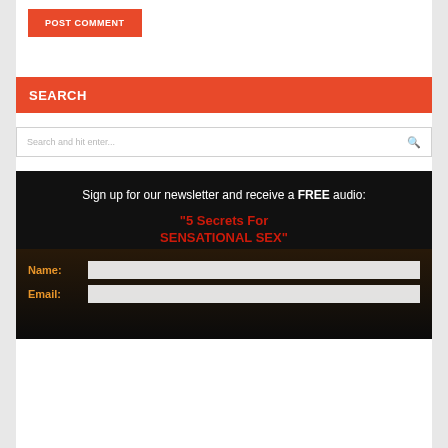[Figure (screenshot): POST COMMENT button in orange-red with white bold text]
SEARCH
Search and hit enter...
Sign up for our newsletter and receive a FREE audio:
"5 Secrets For SENSATIONAL SEX"
Name:
Email: